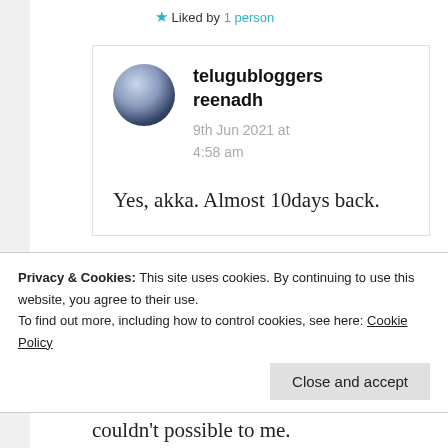★ Liked by 1 person
telugubloggers reenadh
9th Jun 2021 at 4:58 am
Yes, akka. Almost 10days back.
Privacy & Cookies: This site uses cookies. By continuing to use this website, you agree to their use.
To find out more, including how to control cookies, see here: Cookie Policy
Close and accept
couldn't possible to me.